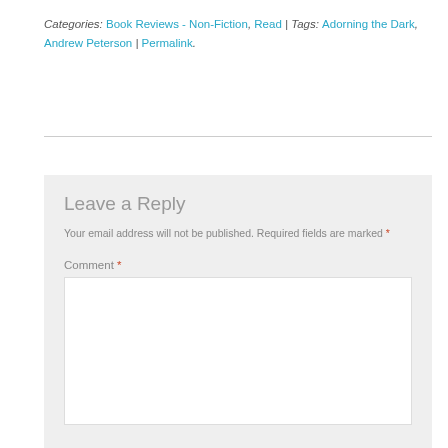Categories: Book Reviews - Non-Fiction, Read | Tags: Adorning the Dark, Andrew Peterson | Permalink.
Leave a Reply
Your email address will not be published. Required fields are marked *
Comment *